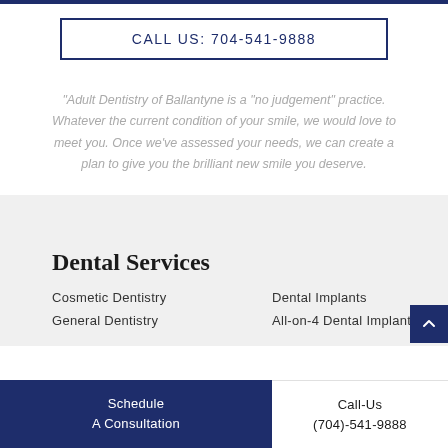CALL US: 704-541-9888
“Adult Dentistry of Ballantyne is a “no judgement” practice. Whatever the current condition of your smile, we would love to meet you. Once we’ve assessed your needs, we can create a plan to give you the brilliant new smile you deserve.
Dental Services
Cosmetic Dentistry
Dental Implants
General Dentistry
All-on-4 Dental Implants
Schedule A Consultation
Call-Us
(704)-541-9888